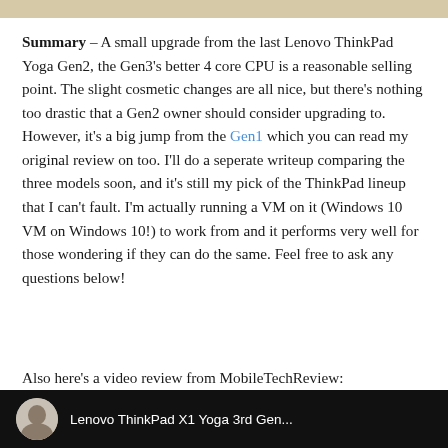[Figure (other): Decorative top bar / page header strip in tan/beige color]
Summary – A small upgrade from the last Lenovo ThinkPad Yoga Gen2, the Gen3's better 4 core CPU is a reasonable selling point. The slight cosmetic changes are all nice, but there's nothing too drastic that a Gen2 owner should consider upgrading to. However, it's a big jump from the Gen1 which you can read my original review on too. I'll do a seperate writeup comparing the three models soon, and it's still my pick of the ThinkPad lineup that I can't fault. I'm actually running a VM on it (Windows 10 VM on Windows 10!) to work from and it performs very well for those wondering if they can do the same. Feel free to ask any questions below!
Also here's a video review from MobileTechReview:
[Figure (screenshot): Black bar at the bottom showing a video thumbnail with a circular avatar photo and partial text 'Lenovo ThinkPad X1 Yoga 3rd Gen...' in white on black background]